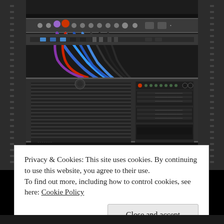[Figure (photo): Server rack with networking equipment including patch panels with colored cables (blue, red, purple) at the top, a large rackmount server unit in the middle with ventilation grilles and drive bays on the right side, and a white 2U server with drive bays at the bottom. The rack is dark gray/black metal.]
Privacy & Cookies: This site uses cookies. By continuing to use this website, you agree to their use.
To find out more, including how to control cookies, see here: Cookie Policy
Close and accept